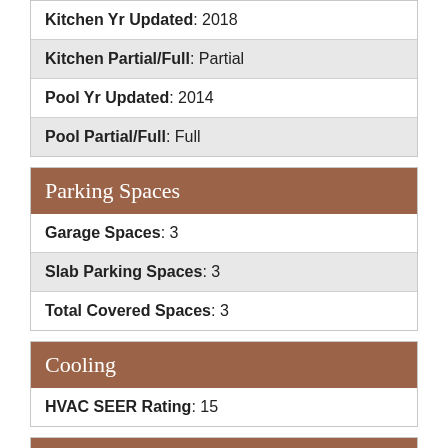| Kitchen Yr Updated: 2018 |
| Kitchen Partial/Full: Partial |
| Pool Yr Updated: 2014 |
| Pool Partial/Full: Full |
Parking Spaces
| Garage Spaces: 3 |
| Slab Parking Spaces: 3 |
| Total Covered Spaces: 3 |
Cooling
| HVAC SEER Rating: 15 |
Contact Info